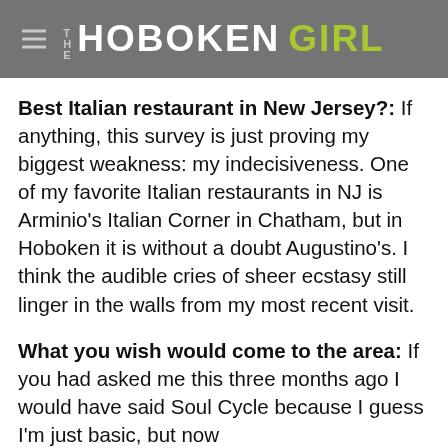THE HOBOKEN GIRL
Best Italian restaurant in New Jersey?: If anything, this survey is just proving my biggest weakness: my indecisiveness. One of my favorite Italian restaurants in NJ is Arminio's Italian Corner in Chatham, but in Hoboken it is without a doubt Augustino's. I think the audible cries of sheer ecstasy still linger in the walls from my most recent visit.
What you wish would come to the area: If you had asked me this three months ago I would have said Soul Cycle because I guess I'm just basic, but now